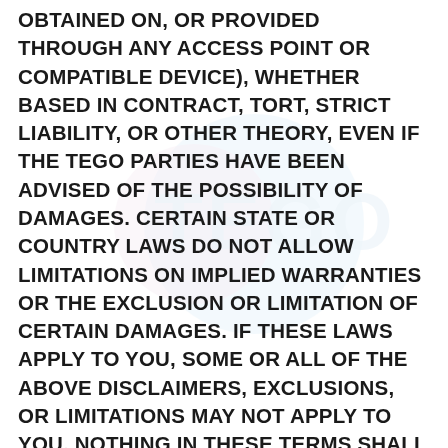OBTAINED ON, OR PROVIDED THROUGH ANY ACCESS POINT OR COMPATIBLE DEVICE), WHETHER BASED IN CONTRACT, TORT, STRICT LIABILITY, OR OTHER THEORY, EVEN IF THE TEGO PARTIES HAVE BEEN ADVISED OF THE POSSIBILITY OF DAMAGES. CERTAIN STATE OR COUNTRY LAWS DO NOT ALLOW LIMITATIONS ON IMPLIED WARRANTIES OR THE EXCLUSION OR LIMITATION OF CERTAIN DAMAGES. IF THESE LAWS APPLY TO YOU, SOME OR ALL OF THE ABOVE DISCLAIMERS, EXCLUSIONS, OR LIMITATIONS MAY NOT APPLY TO YOU. NOTHING IN THESE TERMS SHALL AFFECT ANY NON-WAIVABLE STATUTORY RIGHTS THAT APPLY TO YOU. IN NO EVENT SHALL OUR TOTAL LIABILITY TO YOU FOR ALL DAMAGES, LOSSES AND CAUSES OF ACTION WHETHER IN CONTRACT, TORT (INCLUDING NEGLIGENCE) OR OTHERWISE EXCEED THE AMOUNT PAID BY YOU TO TEGO FOR ACCESS TO ANY OF YOUR SUBSCRIPTIONS IN THE 6 MONTHS PRECEDING THE